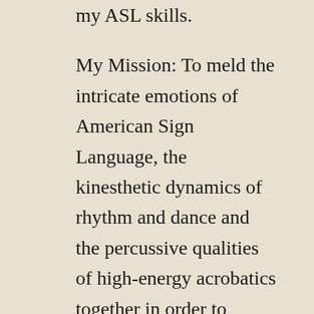my ASL skills.
My Mission: To meld the intricate emotions of American Sign Language, the kinesthetic dynamics of rhythm and dance and the percussive qualities of high-energy acrobatics together in order to create a brand-new medium of art that resounds within the souls of hearing and deaf people alike.
My Motivation: My deaf family members, friends, and fellow dancers who have the ability to feel as far as the sky.
My Muse: Rhythm, music and dance that